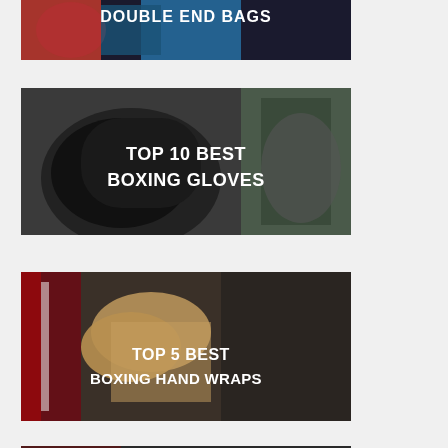[Figure (photo): Boxing gloves hitting a double end bag, with text overlay: DOUBLE END BAGS]
[Figure (photo): Boxing gloves close-up with text overlay: TOP 10 BEST BOXING GLOVES]
[Figure (photo): Boxer wrapping hands in a gym with text overlay: TOP 5 BEST BOXING HAND WRAPS]
[Figure (photo): Partially visible fourth image at bottom of page]